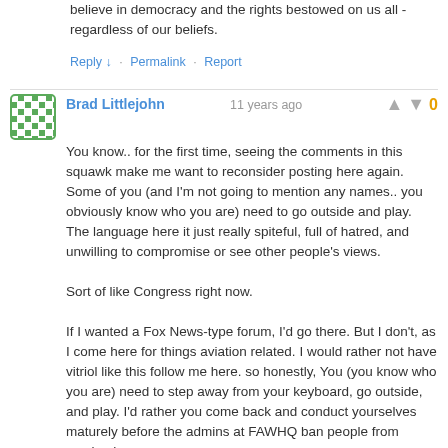believe in democracy and the rights bestowed on us all - regardless of our beliefs.
Reply ↓ · Permalink · Report
Brad Littlejohn  11 years ago  0
You know.. for the first time, seeing the comments in this squawk make me want to reconsider posting here again. Some of you (and I'm not going to mention any names.. you obviously know who you are) need to go outside and play. The language here it just really spiteful, full of hatred, and unwilling to compromise or see other people's views.

Sort of like Congress right now.

If I wanted a Fox News-type forum, I'd go there. But I don't, as I come here for things aviation related. I would rather not have vitriol like this follow me here. so honestly, You (you know who you are) need to step away from your keyboard, go outside, and play. I'd rather you come back and conduct yourselves maturely before the admins at FAWHQ ban people from coming here.

As far as the subject matter goes, I find it very funny that no-one, Blue, Red, or otherwise, seemed to have an issue with this 8 - 10 years ago, when all of the info we're talking about was public anyway.

Tony, you are spot on. And I fear that it's going to get worse, and that it will take something major happening to get people to stop and think (a talent that seems to have been lost